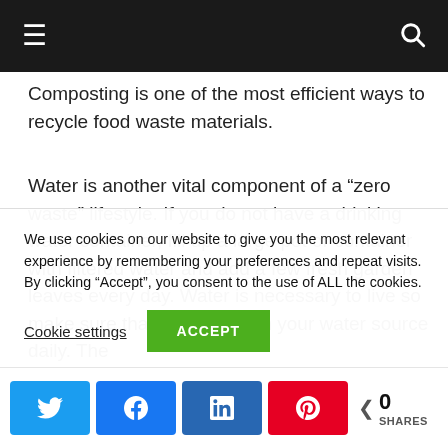Navigation bar with menu and search icons
Composting is one of the most efficient ways to recycle food waste materials.
Water is another vital component of a “zero waste” lifestyle. If you do not have a drinking water container, fill up a large pot or container with filtered water and add a few fresh garden leaves every day. Water is necessary to live so make sure that you replenish your water source daily. The
We use cookies on our website to give you the most relevant experience by remembering your preferences and repeat visits. By clicking “Accept”, you consent to the use of ALL the cookies.
Cookie settings
ACCEPT
0 SHARES